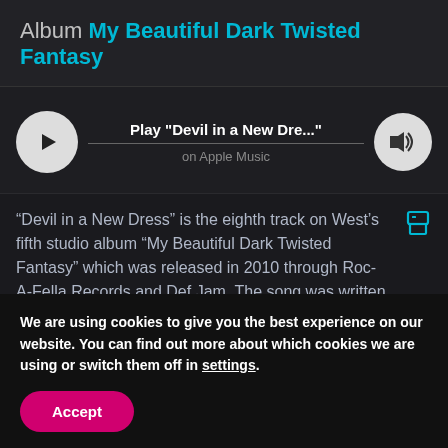Album My Beautiful Dark Twisted Fantasy
[Figure (screenshot): Music player UI showing play button, track title 'Play "Devil in a New Dre..."' and 'on Apple Music' subtitle, with volume icon]
“Devil in a New Dress” is the eighth track on West’s fifth studio album “My Beautiful Dark Twisted Fantasy” which was released in 2010 through Roc-A-Fella Records and Def Jam. The song was written by Kanye West, Mike Dean, Roosevelt Harrell
We are using cookies to give you the best experience on our website. You can find out more about which cookies we are using or switch them off in settings.